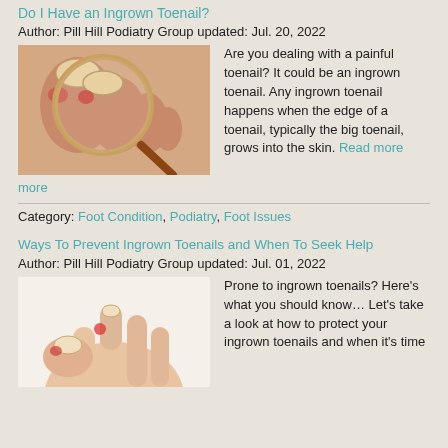Do I Have an Ingrown Toenail?
Author: Pill Hill Podiatry Group updated: Jul. 20, 2022
[Figure (photo): Close-up of a foot with a magnifying glass examining a toenail, showing redness around the nail]
Are you dealing with a painful toenail? It could be an ingrown toenail. Any ingrown toenail happens when the edge of a toenail, typically the big toenail, grows into the skin. Read more
Category: Foot Condition, Podiatry, Foot Issues
Ways To Prevent Ingrown Toenails and When To Seek Help
Author: Pill Hill Podiatry Group updated: Jul. 01, 2022
[Figure (photo): Close-up of a hand pointing at a toe with redness indicating an ingrown toenail]
Prone to ingrown toenails? Here's what you should know... Let's take a look at how to protect your ingrown toenails and when it's time